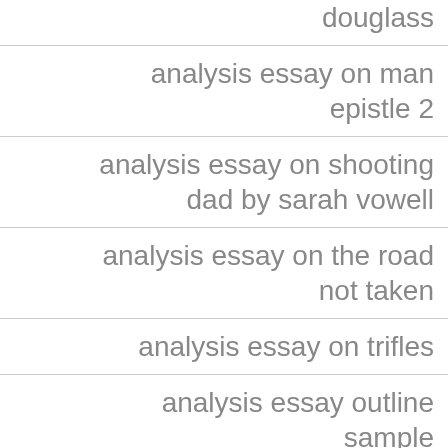douglass
analysis essay on man epistle 2
analysis essay on shooting dad by sarah vowell
analysis essay on the road not taken
analysis essay on trifles
analysis essay outline sample
analysis essay prewriting chart
analysis essay samples